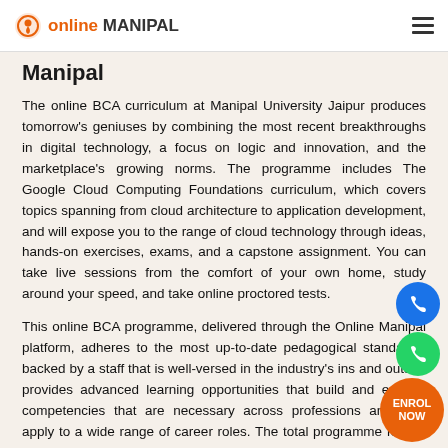online MANIPAL
Manipal
The online BCA curriculum at Manipal University Jaipur produces tomorrow's geniuses by combining the most recent breakthroughs in digital technology, a focus on logic and innovation, and the marketplace's growing norms. The programme includes The Google Cloud Computing Foundations curriculum, which covers topics spanning from cloud architecture to application development, and will expose you to the range of cloud technology through ideas, hands-on exercises, exams, and a capstone assignment. You can take live sessions from the comfort of your own home, study around your speed, and take online proctored tests.
This online BCA programme, delivered through the Online Manipal platform, adheres to the most up-to-date pedagogical standards, backed by a staff that is well-versed in the industry's ins and outs. It provides advanced learning opportunities that build and expand competencies that are necessary across professions and may apply to a wide range of career roles. The total programme fee for online BCA at Manipal University Jaipur is INR 120000. Students are provided with